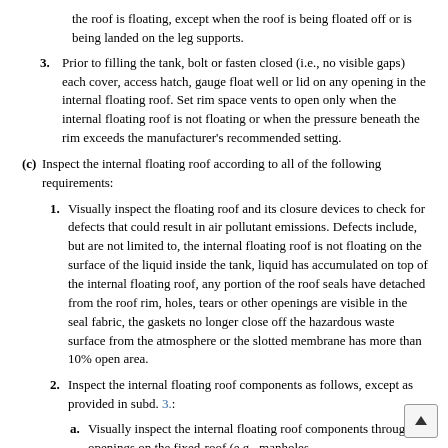the roof is floating, except when the roof is being floated off or is being landed on the leg supports.
3. Prior to filling the tank, bolt or fasten closed (i.e., no visible gaps) each cover, access hatch, gauge float well or lid on any opening in the internal floating roof. Set rim space vents to open only when the internal floating roof is not floating or when the pressure beneath the rim exceeds the manufacturer's recommended setting.
(c) Inspect the internal floating roof according to all of the following requirements:
1. Visually inspect the floating roof and its closure devices to check for defects that could result in air pollutant emissions. Defects include, but are not limited to, the internal floating roof is not floating on the surface of the liquid inside the tank, liquid has accumulated on top of the internal floating roof, any portion of the roof seals have detached from the roof rim, holes, tears or other openings are visible in the seal fabric, the gaskets no longer close off the hazardous waste surface from the atmosphere or the slotted membrane has more than 10% open area.
2. Inspect the internal floating roof components as follows, except as provided in subd. 3.:
a. Visually inspect the internal floating roof components through openings on the fixed-roof (e.g., manholes …